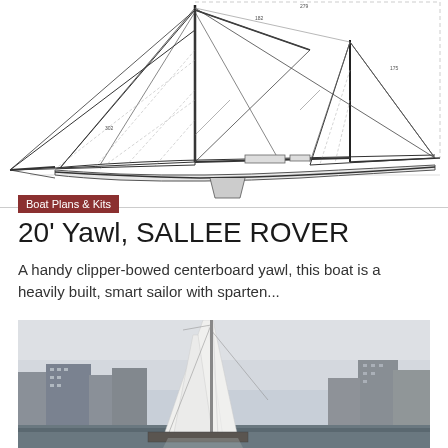[Figure (engineering-diagram): Technical sail plan drawing of a 20-foot Yawl sailboat showing mast, sails, rigging, and hull profile with dimension annotations]
Boat Plans & Kits
20' Yawl, SALLEE ROVER
A handy clipper-bowed centerboard yawl, this boat is a heavily built, smart sailor with sparten...
[Figure (photo): Photograph of a sailing boat with white sails, taken at a marina or harbor with urban buildings visible in the background]